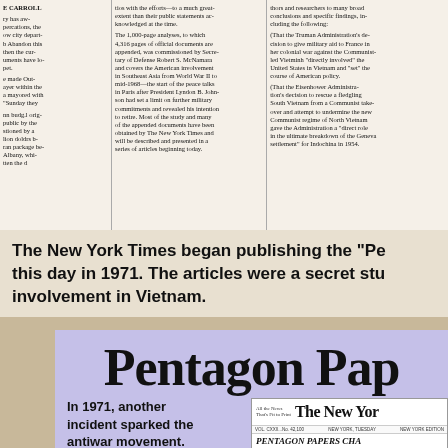[Figure (photo): Scanned newspaper clipping with three columns of small newsprint text about the Pentagon Papers study, including references to defense analysis and Vietnam involvement.]
The New York Times began publishing the "Pen... this day in 1971. The articles were a secret stud... involvement in Vietnam.
[Figure (infographic): Purple-background infographic panel with large bold title 'Pentagon Pap...' and text: 'In 1971, another incident sparked the antiwar movement. The New York Times began publishing a' alongside a small New York Times newspaper front page showing headlines PENTAGON PAPERS CHA... JUDGE BYRNE FREES EL... ASSAILS IMPROPER GO...]